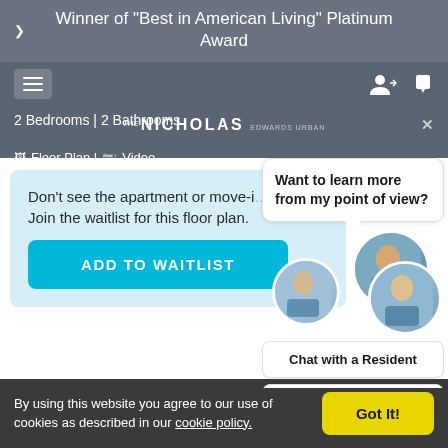Winner of "Best in American Living" Platinum Award
2 Bedrooms | 2 Bathrooms
THE NICHOLAS EDWARDS URBAN
Floor Plan | Video
Want to learn more from my point of view?
Don't see the apartment or move-in date you're looking for? Join the waitlist for this floor plan.
ADD TO WAITLIST
Chat with a Resident
Contact Property
By using this website you agree to our use of cookies as described in our cookie policy.